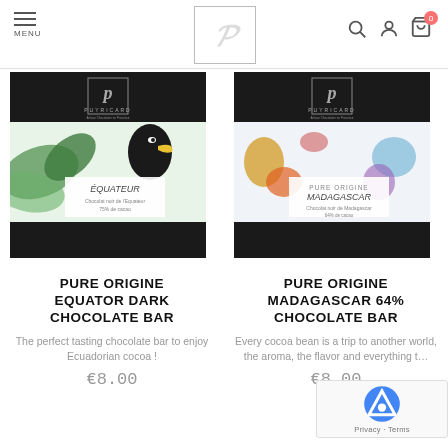MENU | PUYRICARD logo | Search, User, Cart (0)
[Figure (photo): Puyricard Pure Origine Equateur chocolate bar box with tropical bird and leaves design]
PURE ORIGINE EQUATOR DARK CHOCOLATE BAR
The perfect tasting chocolate bar to enjoy Ecuadorian cocoa !
€8.00
[Figure (photo): Puyricard Pure Origine Madagascar 64% chocolate bar box with floral and fruit design]
PURE ORIGINE MADAGASCAR 64% CHOCOLATE BAR
Every cocoa bean is a trip to another world, the aroma, the flavor and everything t…
€8.00